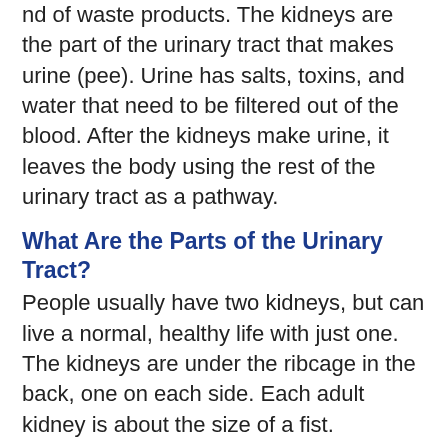nd of waste products. The kidneys are the part of the urinary tract that makes urine (pee). Urine has salts, toxins, and water that need to be filtered out of the blood. After the kidneys make urine, it leaves the body using the rest of the urinary tract as a pathway.
What Are the Parts of the Urinary Tract?
People usually have two kidneys, but can live a normal, healthy life with just one. The kidneys are under the ribcage in the back, one on each side. Each adult kidney is about the size of a fist.
Each kidney has an outer layer called the cortex, which contains filtering units. The center part of the kidney, the medulla (meh-DUH-luh), has fan-shaped structures called pyramids. These drain urine into cup-shaped tubes called calyxes (KAY-luh-seez).